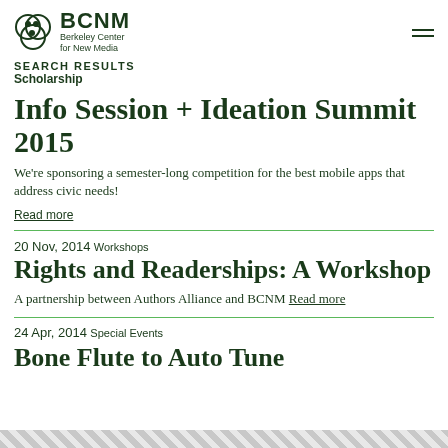BCNM Berkeley Center for New Media
SEARCH RESULTS
Scholarship
Info Session + Ideation Summit 2015
We're sponsoring a semester-long competition for the best mobile apps that address civic needs!
Read more
20 Nov, 2014  Workshops
Rights and Readerships: A Workshop
A partnership between Authors Alliance and BCNM Read more
24 Apr, 2014  Special Events
Bone Flute to Auto Tune